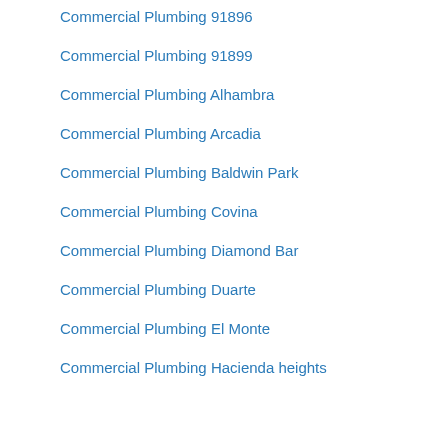Commercial Plumbing 91896
Commercial Plumbing 91899
Commercial Plumbing Alhambra
Commercial Plumbing Arcadia
Commercial Plumbing Baldwin Park
Commercial Plumbing Covina
Commercial Plumbing Diamond Bar
Commercial Plumbing Duarte
Commercial Plumbing El Monte
Commercial Plumbing Hacienda heights